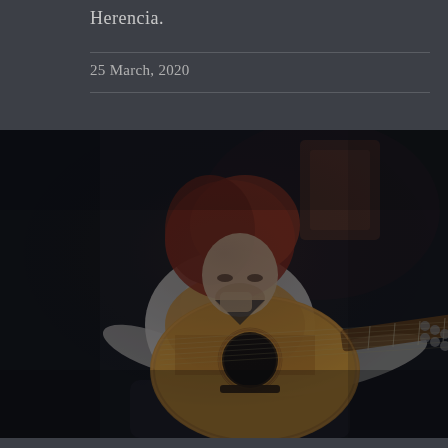Herencia.
25 March, 2020
[Figure (photo): A guitarist with reddish hair wearing a white shirt, seated and playing an acoustic/flamenco guitar on a dark stage. The musician is leaning forward intensely, focused on the instrument.]